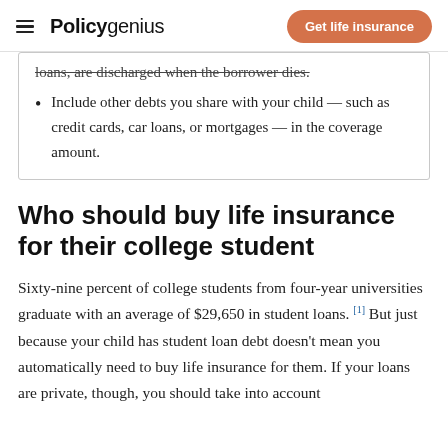Policygenius | Get life insurance
loans, are discharged when the borrower dies.
Include other debts you share with your child — such as credit cards, car loans, or mortgages — in the coverage amount.
Who should buy life insurance for their college student
Sixty-nine percent of college students from four-year universities graduate with an average of $29,650 in student loans. [1] But just because your child has student loan debt doesn't mean you automatically need to buy life insurance for them. If your loans are private, though, you should take into account